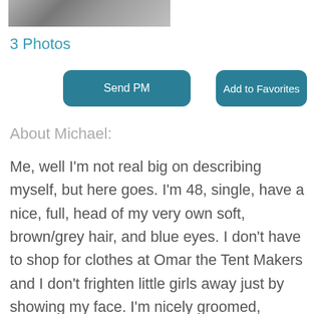[Figure (photo): Partial photo strip showing a person, partially cropped at top of page]
3 Photos
Send PM
Add to Favorites
About Michael:
Me, well I'm not real big on describing myself, but here goes. I'm 48, single, have a nice, full, head of my very own soft, brown/grey hair, and blue eyes. I don't have to shop for clothes at Omar the Tent Makers and I don't frighten little girls away just by showing my face. I'm nicely groomed, literate, well spoken, and